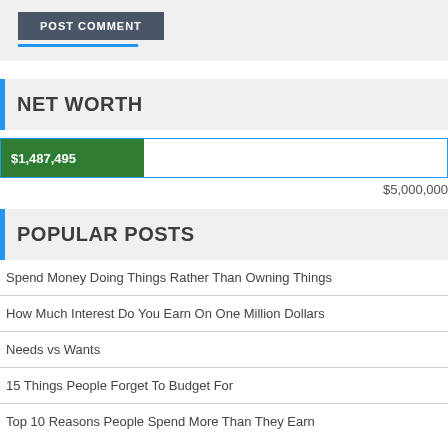[Figure (other): POST COMMENT button with blue underline on grey background]
NET WORTH
[Figure (bar-chart): Horizontal progress bar showing $1,487,495 out of $5,000,000 goal]
$5,000,000
POPULAR POSTS
Spend Money Doing Things Rather Than Owning Things
How Much Interest Do You Earn On One Million Dollars
Needs vs Wants
15 Things People Forget To Budget For
Top 10 Reasons People Spend More Than They Earn